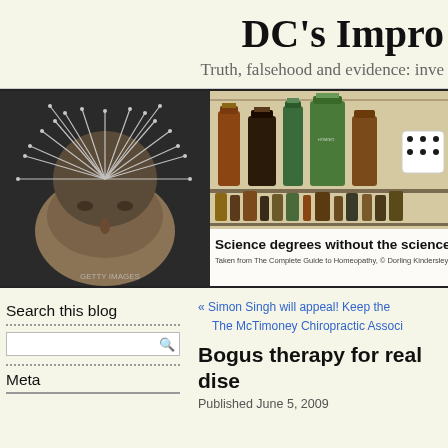DC's Impro
Truth, falsehood and evidence: inve
[Figure (photo): Left panel: black and white photo of a human head covered in acupuncture needles with 'GETTY IMAGES' watermark. Right panel: photo of homeopathic medicine bottles of various sizes and colors on shelves, with text overlay 'Science degrees without the science' and caption 'Taken from The Complete Guide to Homeopathy, © Dorling Kindersley Ltd']
Search this blog
Meta
« Simon Singh will appeal! Keep the
The McTimoney Chiropractic Associ
Bogus therapy for real dise
Published June 5, 2009